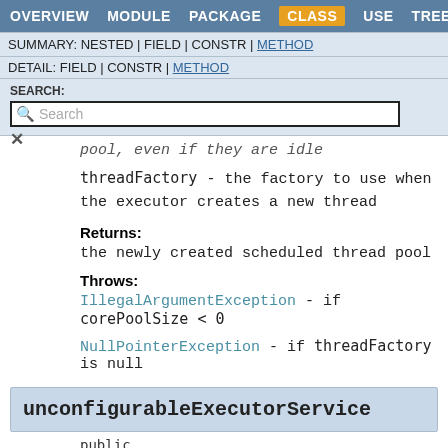OVERVIEW  MODULE  PACKAGE  CLASS  USE  TREE
SUMMARY: NESTED | FIELD | CONSTR | METHOD
DETAIL: FIELD | CONSTR | METHOD
SEARCH:
pool, even if they are idle
threadFactory - the factory to use when the executor creates a new thread
Returns:
the newly created scheduled thread pool
Throws:
IllegalArgumentException - if corePoolSize < 0
NullPointerException - if threadFactory is null
unconfigurableExecutorService
public